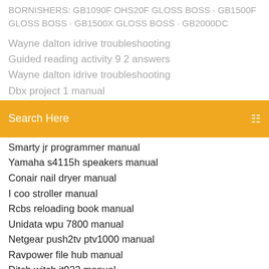BORNISHERS: GB1090F OHS20F GLOSS BOSS · GB1500F GLOSS BOSS · GB1500X GLOSS BOSS · GB2000DC
Wayne dalton idrive troubleshooting
Guided reading activity 9 2 answers
Wayne dalton idrive troubleshooting
Dbx project 1 manual
Search Here
Smarty jr programmer manual
Yamaha s4115h speakers manual
Conair nail dryer manual
I coo stroller manual
Rcbs reloading book manual
Unidata wpu 7800 manual
Netgear push2tv ptv1000 manual
Ravpower file hub manual
Ditch witch jt922 manual
Astro power mig 130 manual